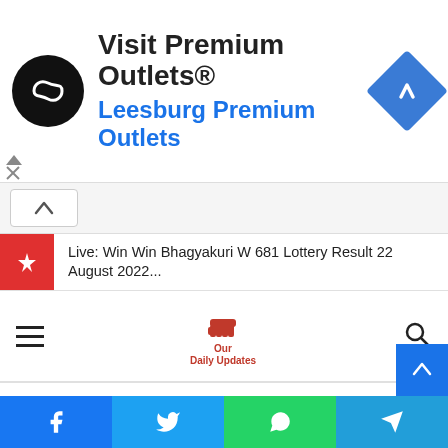[Figure (infographic): Advertisement banner for 'Visit Premium Outlets® Leesburg Premium Outlets' with a black circular logo with infinity-like symbol on the left, a blue diamond navigation icon on the right, and ad close controls (triangle and X) at bottom-left]
Live: Win Win Bhagyakuri W 681 Lottery Result 22 August 2022...
[Figure (logo): Our Daily Updates site logo — red fist icon with 'Our Daily Updates' text below, hamburger menu icon on the left, search icon on the right]
[Figure (infographic): Social share bar at the bottom with Facebook, Twitter, WhatsApp, and Telegram icons in blue, light blue, green, and dark blue respectively]